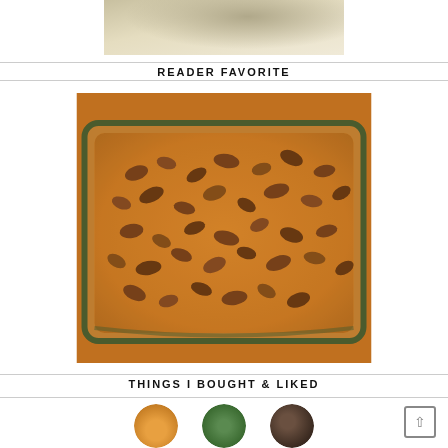[Figure (photo): Top partial photo showing a baking dish with batter being poured, cropped at top of page]
READER FAVORITE
[Figure (photo): Close-up photo of a glass baking dish filled with golden pumpkin or sweet potato casserole topped with chopped pecans]
THINGS I BOUGHT & LIKED
[Figure (photo): Partial view of three circular thumbnail product images at bottom of page]